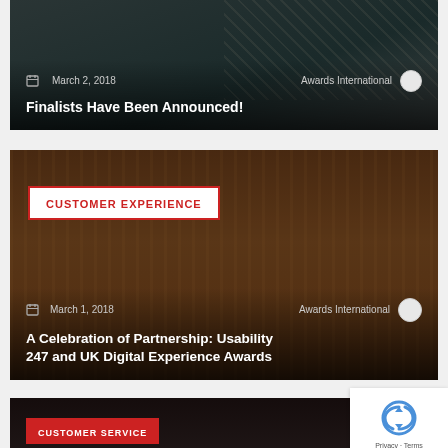[Figure (photo): Dark background card with newspaper/media image, partially visible at top of page]
March 2, 2018  Awards International
Finalists Have Been Announced!
[Figure (photo): Champagne glasses photo used as card background for Customer Experience article]
CUSTOMER EXPERIENCE
March 1, 2018  Awards International
A Celebration of Partnership: Usability 247 and UK Digital Experience Awards
[Figure (photo): Dark background card, bottom partially visible, Customer Service tag]
CUSTOMER SERVICE